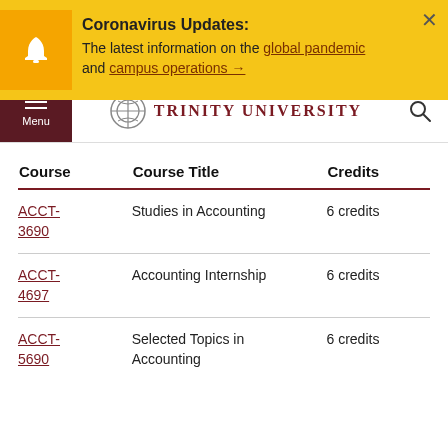Coronavirus Updates: The latest information on the global pandemic and campus operations →
TRINITY UNIVERSITY
| Course | Course Title | Credits |
| --- | --- | --- |
| ACCT-3690 | Studies in Accounting | 6 credits |
| ACCT-4697 | Accounting Internship | 6 credits |
| ACCT-5690 | Selected Topics in Accounting | 6 credits |